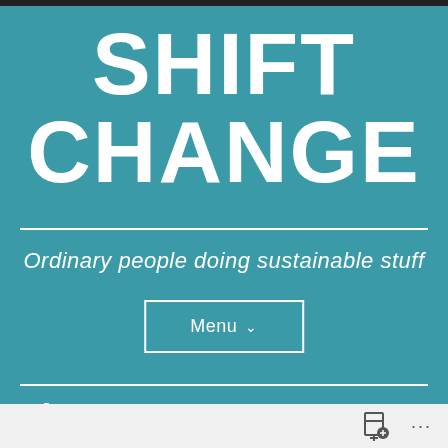SHIFT CHANGE
Ordinary people doing sustainable stuff
Menu ∨